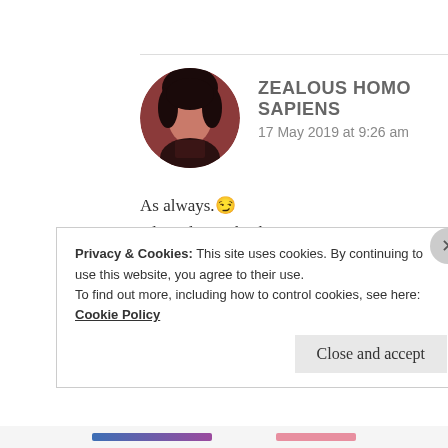[Figure (photo): Circular avatar showing a person with dark hair against a reddish-brown background]
ZEALOUS HOMO SAPIENS
17 May 2019 at 9:26 am
As always.😏
Also, please check your spams na!
★ Liked by 1 person
Privacy & Cookies: This site uses cookies. By continuing to use this website, you agree to their use.
To find out more, including how to control cookies, see here: Cookie Policy
Close and accept